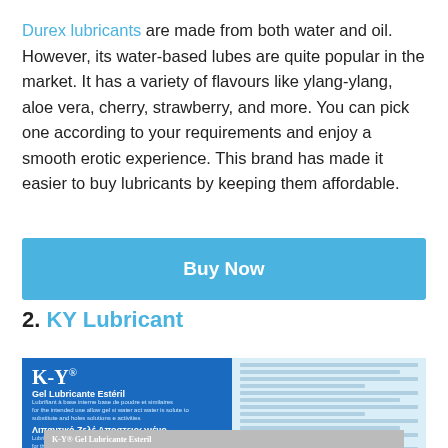Durex lubricants are made from both water and oil. However, its water-based lubes are quite popular in the market. It has a variety of flavours like ylang-ylang, aloe vera, cherry, strawberry, and more. You can pick one according to your requirements and enjoy a smooth erotic experience. This brand has made it easier to buy lubricants by keeping them affordable.
[Figure (other): Blue 'Buy Now' button]
2. KY Lubricant
[Figure (photo): K-Y Gel Lubricante Esteril product box, 82g, blue packaging with white text]